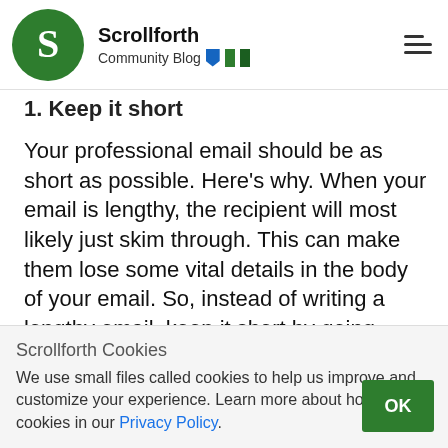Scrollforth — Community Blog
1. Keep it short
Your professional email should be as short as possible. Here's why. When your email is lengthy, the recipient will most likely just skim through. This can make them lose some vital details in the body of your email. So, instead of writing a lengthy email, keep it short by going straight to the point. As soon as they respond, you can go ahead to include more details that you left out in the first email.
Scrollforth Cookies
We use small files called cookies to help us improve and customize your experience. Learn more about how we use cookies in our Privacy Policy.